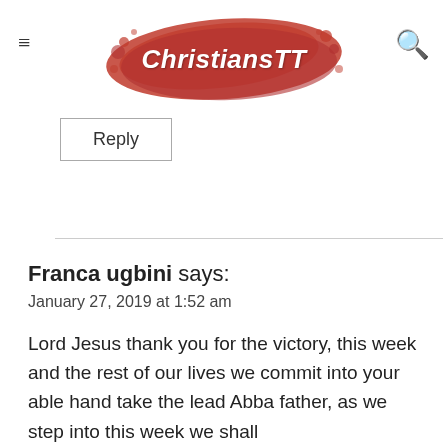ChristiansTT
Reply
Franca ugbini says:
January 27, 2019 at 1:52 am

Lord Jesus thank you for the victory, this week and the rest of our lives we commit into your able hand take the lead Abba father, as we step into this week we shall